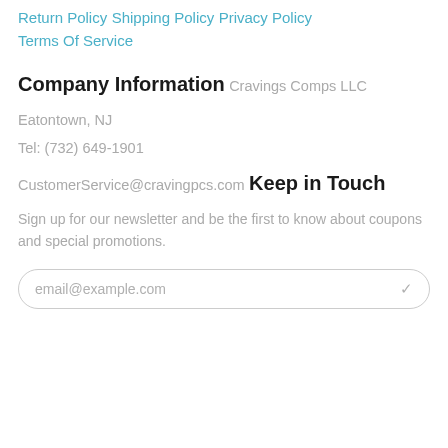Return Policy
Shipping Policy
Privacy Policy
Terms Of Service
Company Information
Cravings Comps LLC
Eatontown, NJ
Tel: (732) 649-1901
CustomerService@cravingpcs.com
Keep in Touch
Sign up for our newsletter and be the first to know about coupons and special promotions.
email@example.com